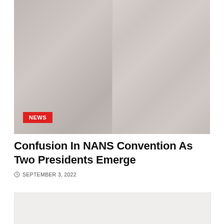[Figure (photo): Two men in white clothing, one wearing a cap, both appearing to be in thought or conversation. Faded/washed out photo used as article header image.]
Confusion In NANS Convention As Two Presidents Emerge
SEPTEMBER 3, 2022
[Figure (photo): Partially visible image at the bottom of the page, appears to be another article or section preview.]